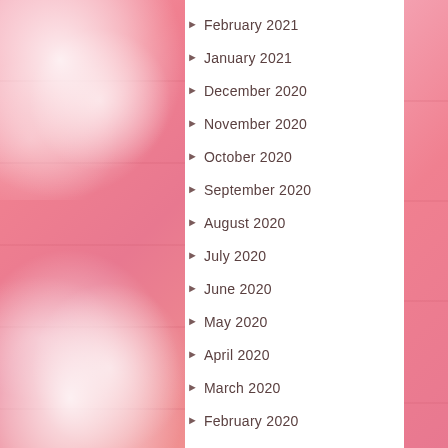[Figure (photo): Pink wooden plank background with white baby's breath flowers in top-left and bottom-left corners, and a pink strip on the right side]
February 2021
January 2021
December 2020
November 2020
October 2020
September 2020
August 2020
July 2020
June 2020
May 2020
April 2020
March 2020
February 2020